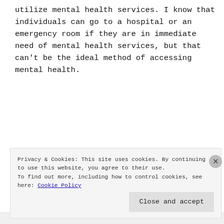utilize mental health services. I know that individuals can go to a hospital or an emergency room if they are in immediate need of mental health services, but that can’t be the ideal method of accessing mental health.
[Figure (other): Advertisements banner with text 'Simplified pricing for' on a blue-to-purple gradient background]
Most people probably have no idea that they have access to preventative mental health
Privacy & Cookies: This site uses cookies. By continuing to use this website, you agree to their use.
To find out more, including how to control cookies, see here: Cookie Policy
Close and accept